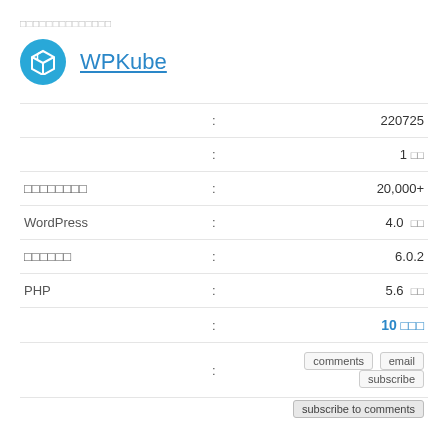□□□□□□□□□□□□□□
[Figure (logo): WPKube plugin icon - blue circle with cube/box logo]
WPKube
|  :  | 220725 |
|  :  | 1 □□ |
| □□□□□□□□ :  | 20,000+ |
| WordPress :  | 4.0 □□ |
| □□□□□□ :  | 6.0.2 |
| PHP :  | 5.6 □□ |
|  :  | 10 □□□ |
|  :  | comments  email  subscribe |